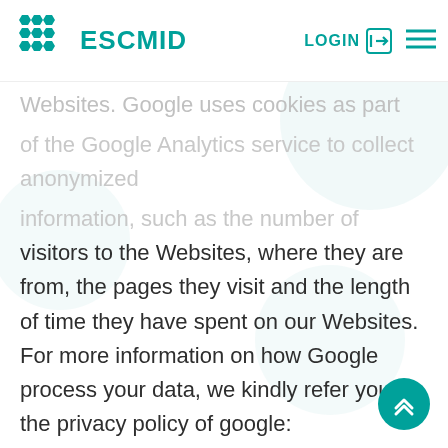ESCMID LOGIN
Websites. Google uses cookies as part of the Google Analytics service to collect anonymized information, such as the number of visitors to the Websites, where they are from, the pages they visit and the length of time they have spent on our Websites. For more information on how Google process your data, we kindly refer you to the privacy policy of google: https://policies.google.com/privacy?hl=en-US.
E-mail updates: Our marketing communications use cookies and tracking technology which help us to